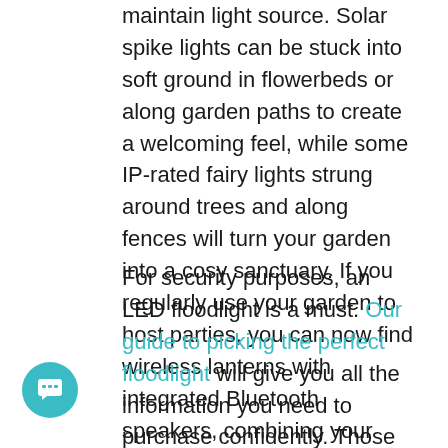maintain light source. Solar spike lights can be stuck into soft ground in flowerbeds or along garden paths to create a welcoming feel, while some IP-rated fairy lights strung around trees and along fences will turn your garden into a cosy sanctuary. If you regularly use your garden to host parties, you can now find wireless lanterns with integrated Bluetooth speakers, combining your lighting and your entertainment into one stylish package,
For security purposes, an LED floodlight is a must. Our guide to picking the perfect floodlight will give you all the information you need to purchase confidently. Those with motion sensors and 'dusk-till-dawn' sensors provide more sophisticated ways of controlling when your lights...